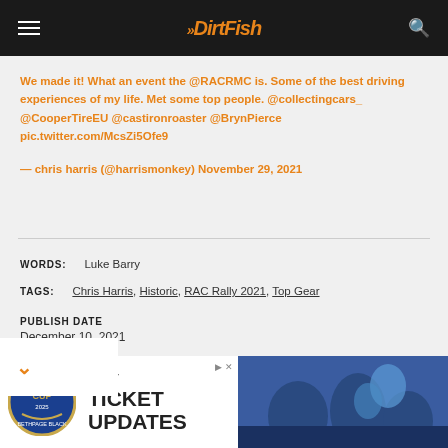DirtFish
We made it! What an event the @RACRMC is. Some of the best driving experiences of my life. Met some top people. @collectingcars_ @CooperTireEU @castironroaster @BrynPierce pic.twitter.com/McsZi5Ofe9

— chris harris (@harrismonkey) November 29, 2021
WORDS: Luke Barry
TAGS: Chris Harris, Historic, RAC Rally 2021, Top Gear
PUBLISH DATE
December 10, 2021
[Figure (photo): Advertisement banner for Ryder Cup ticket updates, showing Ryder Cup logo on the left and sports crowd photo on the right with text GET TICKET UPDATES]